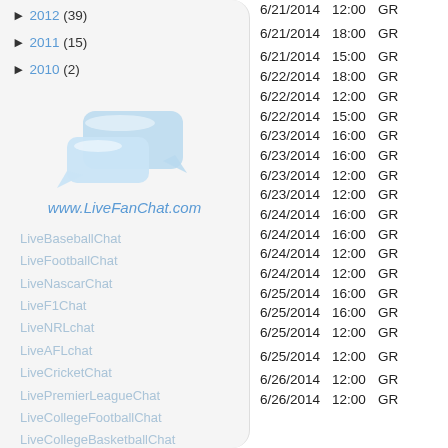► 2012 (39)
► 2011 (15)
► 2010 (2)
[Figure (illustration): Chat bubble icons in light blue]
www.LiveFanChat.com
LiveBaseballChat
LiveFootballChat
LiveNascarChat
LiveF1Chat
LiveNRLchat
LiveAFLchat
LiveCricketChat
LivePremierLeagueChat
LiveCollegeFootballChat
LiveCollegeBasketballChat
LiveHockeyChat
LiveBasketballChat
| Date | Time |  |
| --- | --- | --- |
| 6/21/2014 | 12:00 | GR |
| 6/21/2014 | 18:00 | GR |
| 6/21/2014 | 15:00 | GR |
| 6/22/2014 | 18:00 | GR |
| 6/22/2014 | 12:00 | GR |
| 6/22/2014 | 15:00 | GR |
| 6/23/2014 | 16:00 | GR |
| 6/23/2014 | 16:00 | GR |
| 6/23/2014 | 12:00 | GR |
| 6/23/2014 | 12:00 | GR |
| 6/24/2014 | 16:00 | GR |
| 6/24/2014 | 16:00 | GR |
| 6/24/2014 | 12:00 | GR |
| 6/24/2014 | 12:00 | GR |
| 6/25/2014 | 16:00 | GR |
| 6/25/2014 | 16:00 | GR |
| 6/25/2014 | 12:00 | GR |
| 6/25/2014 | 12:00 | GR |
| 6/26/2014 | 12:00 | GR |
| 6/26/2014 | 12:00 | GR |